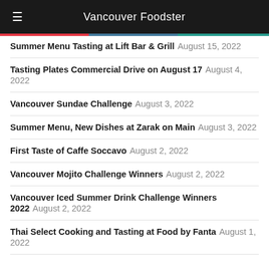Vancouver Foodster
Summer Menu Tasting at Lift Bar & Grill August 15, 2022
Tasting Plates Commercial Drive on August 17 August 4, 2022
Vancouver Sundae Challenge August 3, 2022
Summer Menu, New Dishes at Zarak on Main August 3, 2022
First Taste of Caffe Soccavo August 2, 2022
Vancouver Mojito Challenge Winners August 2, 2022
Vancouver Iced Summer Drink Challenge Winners 2022 August 2, 2022
Thai Select Cooking and Tasting at Food by Fanta August 1, 2022